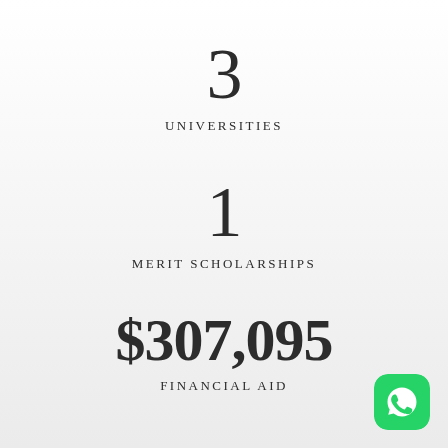3
UNIVERSITIES
1
MERIT SCHOLARSHIPS
$307,095
FINANCIAL AID
[Figure (logo): WhatsApp logo icon in bottom right corner]